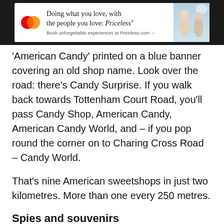[Figure (other): Mastercard advertisement banner: 'Doing what you love, with the people you love: Priceless® Book unforgettable experiences at Priceless.com →' with Mastercard logo and photo of people]
'American Candy' printed on a blue banner covering an old shop name. Look over the road: there's Candy Surprise. If you walk back towards Tottenham Court Road, you'll pass Candy Shop, American Candy, American Candy World, and – if you pop round the corner on to Charing Cross Road – Candy World.
That's nine American sweetshops in just two kilometres. More than one every 250 metres.
Spies and souvenirs
Inside, these stores are as generically similar as their names. All sell row after row of American snacks – most feature both a bespectacled Harry Potter and a red Jelly Belly pattern and finish at the edge of page cut off